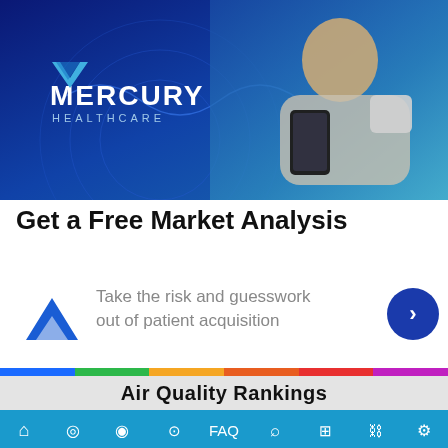[Figure (photo): Mercury Healthcare banner with logo and woman using smartphone and holding coffee cup on blue gradient background]
Get a Free Market Analysis
[Figure (logo): Mercury Healthcare logo mark and tagline: Take the risk and guesswork out of patient acquisition, with blue arrow button]
Air Quality Rankings
[Figure (infographic): Bottom navigation bar with icons: home, location, globe, face mask, FAQ chat, search, chat/person, link, settings]